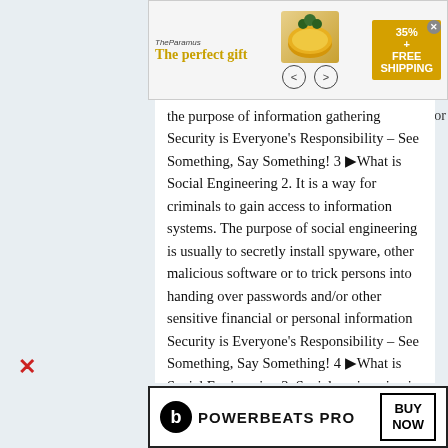[Figure (other): Top advertisement banner: 'The perfect gift' with golden text, food product image, navigation arrows, and '35% FREE SHIPPING' badge with close button]
the purpose of information gathering Security is Everyone's Responsibility – See Something, Say Something! 3 ▶What is Social Engineering 2. It is a way for criminals to gain access to information systems. The purpose of social engineering is usually to secretly install spyware, other malicious software or to trick persons into handing over passwords and/or other sensitive financial or personal information Security is Everyone's Responsibility – See Something, Say Something! 4 ▶What is Social Engineering 3. Social engineering is one of the most effective routes to stealing confidential data from organizations, according to Siemens Enterprise Communications, based in Germany. In a recent Siemens test, 85 percent of office workers were
[Figure (other): Bottom advertisement banner: Beats Powerbeats Pro with 'BUY NOW' button]